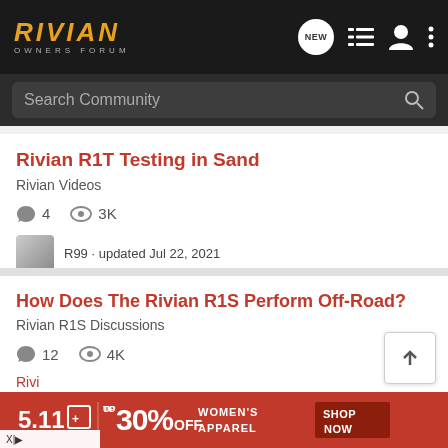RIVIAN OWNERS FORUM
Search Community
Rivian R1T Testing in Sand
Rivian Videos
4 comments, 3K views
R99 · updated Jul 22, 2021
How Does The Rivian R1S Perform Off-Road?
Rivian R1S Discussions
12 comments, 4K views
eHauler · updated 12 mo ago
[Figure (screenshot): Advertisement banner for 5.11 tactical gear showing 30% off Women's Apparel with SHOP NOW button]